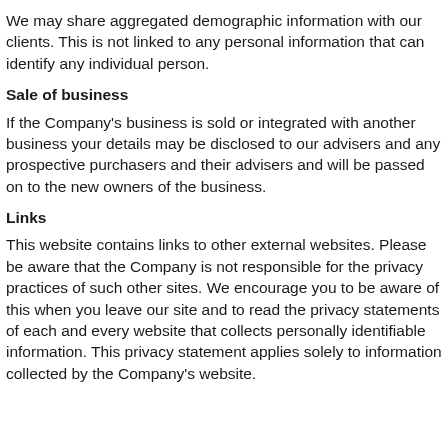We may share aggregated demographic information with our clients. This is not linked to any personal information that can identify any individual person.
Sale of business
If the Company's business is sold or integrated with another business your details may be disclosed to our advisers and any prospective purchasers and their advisers and will be passed on to the new owners of the business.
Links
This website contains links to other external websites. Please be aware that the Company is not responsible for the privacy practices of such other sites. We encourage you to be aware of this when you leave our site and to read the privacy statements of each and every website that collects personally identifiable information. This privacy statement applies solely to information collected by the Company's website.